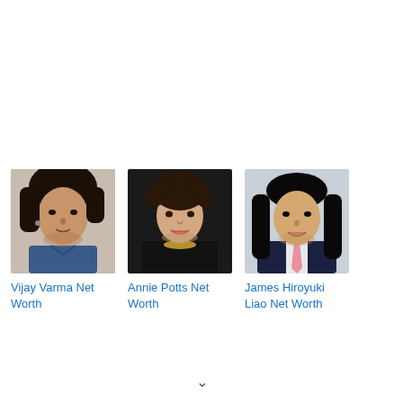[Figure (photo): Portrait photo of Vijay Varma, a man with dark hair wearing a denim jacket]
Vijay Varma Net Worth
[Figure (photo): Portrait photo of Annie Potts, a woman with short curly dark hair]
Annie Potts Net Worth
[Figure (photo): Portrait photo of James Hiroyuki Liao, a man with long black hair wearing a suit and pink tie]
James Hiroyuki Liao Net Worth